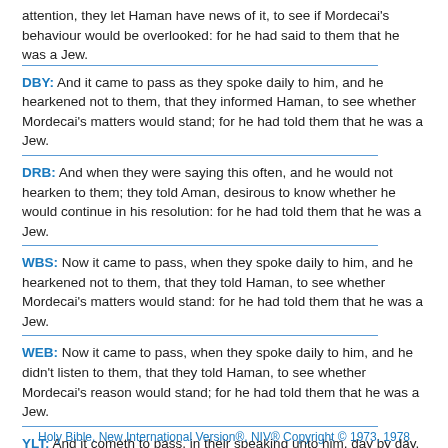attention, they let Haman have news of it, to see if Mordecai's behaviour would be overlooked: for he had said to them that he was a Jew.
DBY: And it came to pass as they spoke daily to him, and he hearkened not to them, that they informed Haman, to see whether Mordecai's matters would stand; for he had told them that he was a Jew.
DRB: And when they were saying this often, and he would not hearken to them; they told Aman, desirous to know whether he would continue in his resolution: for he had told them that he was a Jew.
WBS: Now it came to pass, when they spoke daily to him, and he hearkened not to them, that they told Haman, to see whether Mordecai's matters would stand: for he had told them that he was a Jew.
WEB: Now it came to pass, when they spoke daily to him, and he didn't listen to them, that they told Haman, to see whether Mordecai's reason would stand; for he had told them that he was a Jew.
YLT: And it cometh to pass, in their speaking unto him, day by day, and he hath not hearkened unto them, that they declare it to Haman, to see whether the words of Mordecai do stand, for he hath declared to them that he is a Jew.
Holy Bible, New International Version®, NIV® Copyright © 1973, 1978